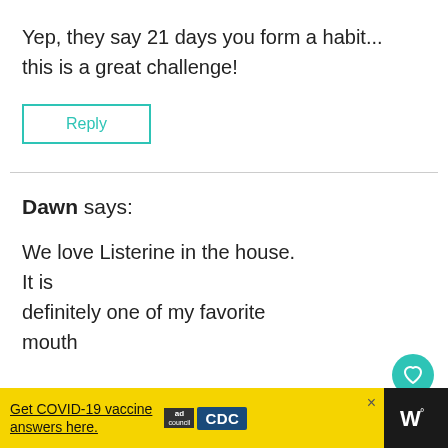Yep, they say 21 days you form a habit... this is a great challenge!
Reply
Dawn says:
We love Listerine in the house. It is definitely one of my favorite mouth
[Figure (screenshot): What's Next overlay with thumbnail image showing child, text: Children explore the...]
Get COVID-19 vaccine answers here. [ad council] [CDC logo]